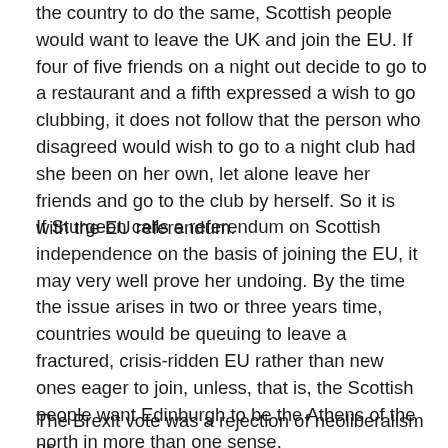the country to do the same, Scottish people would want to leave the UK and join the EU. If four of five friends on a night out decide to go to a restaurant and a fifth expressed a wish to go clubbing, it does not follow that the person who disagreed would wish to go to a night club had she been on her own, let alone leave her friends and go to the club by herself. So it is with the EU referendum.
If Sturgeon calls a referendum on Scottish independence on the basis of joining the EU, it may very well prove her undoing. By the time the issue arises in two or three years time, countries would be queuing to leave a fractured, crisis-ridden EU rather than new ones eager to join, unless, that is, the Scottish people want Edinburgh to be the Athens of the north in more than one sense.
The Brexit vote was a rejection of neoliberalism as